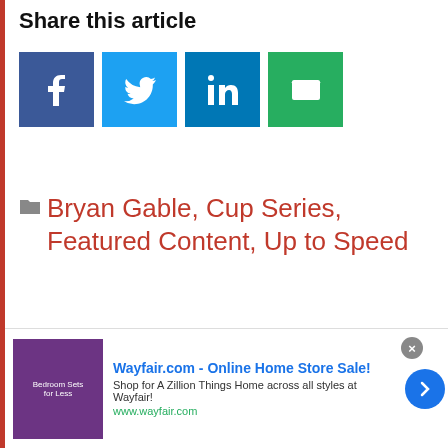Share this article
[Figure (infographic): Four social share buttons: Facebook (dark blue, f icon), Twitter (light blue, bird icon), LinkedIn (teal/blue, in icon), Email (green, envelope icon)]
Bryan Gable, Cup Series, Featured Content, Up to Speed
Aric Almirola, Brad Keselowski, Chase Elliott,
[Figure (infographic): Wayfair.com advertisement banner: 'Wayfair.com - Online Home Store Sale!' with text 'Shop for A Zillion Things Home across all styles at Wayfair!' and URL 'www.wayfair.com', with a purple bedroom image on left and a blue arrow button on right.]